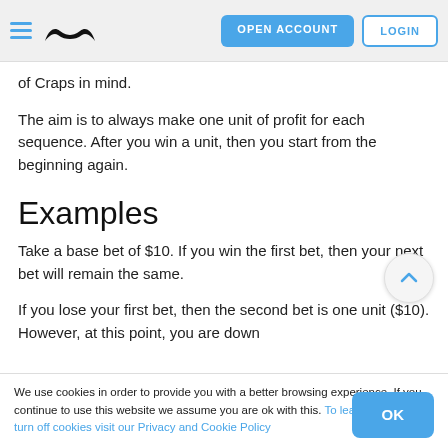OPEN ACCOUNT  LOGIN
of Craps in mind.
The aim is to always make one unit of profit for each sequence. After you win a unit, then you start from the beginning again.
Examples
Take a base bet of $10. If you win the first bet, then your next bet will remain the same.
If you lose your first bet, then the second bet is one unit ($10). However, at this point, you are down
We use cookies in order to provide you with a better browsing experience. If you continue to use this website we assume you are ok with this. To learn more and to turn off cookies visit our Privacy and Cookie Policy